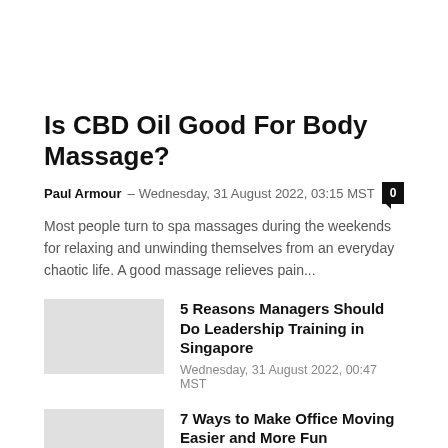Is CBD Oil Good For Body Massage?
Paul Armour – Wednesday, 31 August 2022, 03:15 MST   0
Most people turn to spa massages during the weekends for relaxing and unwinding themselves from an everyday chaotic life. A good massage relieves pain...
5 Reasons Managers Should Do Leadership Training in Singapore
Wednesday, 31 August 2022, 00:47 MST
7 Ways to Make Office Moving Easier and More Fun
Wednesday, 31 August 2022, 00:22 MST